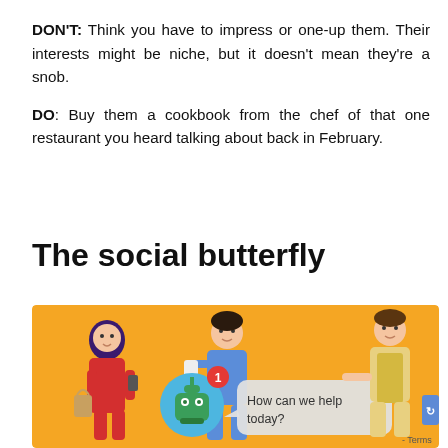DON'T: Think you have to impress or one-up them. Their interests might be niche, but it doesn't mean they're a snob.
DO: Buy them a cookbook from the chef of that one restaurant you heard talking about back in February.
The social butterfly
[Figure (illustration): Illustration on an orange/yellow background showing people socializing: a woman in a red dress holding a bag and phone, a man in a blue shirt holding a cup, a robot/chatbot icon with a notification badge showing '1', a chat bubble saying 'How can we help today?', and a man in a yellow apron on the right side. Partially cropped at bottom.]